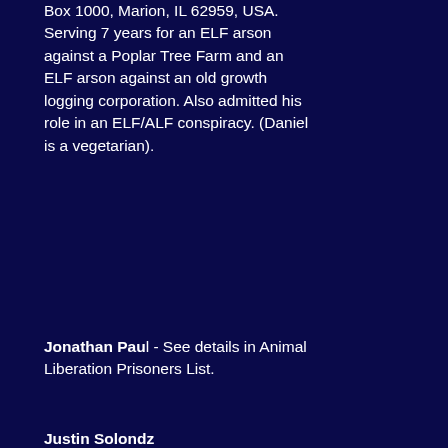Box 1000, Marion, IL 62959, USA. Serving 7 years for an ELF arson against a Poplar Tree Farm and an ELF arson against an old growth logging corporation. Also admitted his role in an ELF/ALF conspiracy. (Daniel is a vegetarian).
Jonathan Paul - See details in Animal Liberation Prisoners List.
Justin Solondz (Address Unknown)